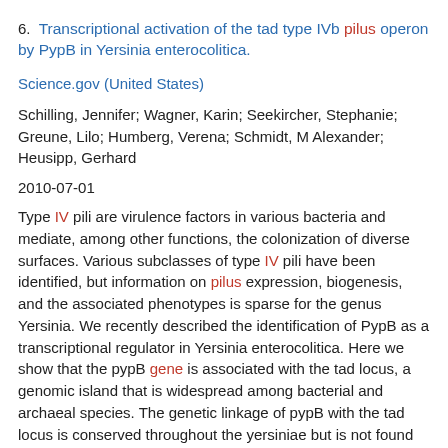Transcriptional activation of the tad type IVb pilus operon by PypB in Yersinia enterocolitica.
Science.gov (United States)
Schilling, Jennifer; Wagner, Karin; Seekircher, Stephanie; Greune, Lilo; Humberg, Verena; Schmidt, M Alexander; Heusipp, Gerhard
2010-07-01
Type IV pili are virulence factors in various bacteria and mediate, among other functions, the colonization of diverse surfaces. Various subclasses of type IV pili have been identified, but information on pilus expression, biogenesis, and the associated phenotypes is sparse for the genus Yersinia. We recently described the identification of PypB as a transcriptional regulator in Yersinia enterocolitica. Here we show that the pypB gene is associated with the tad locus, a genomic island that is widespread among bacterial and archaeal species. The genetic linkage of pypB with the tad locus is conserved throughout the yersiniae but is not found among other bacteria carrying the tad locus. We show that the genes of the tad locus form an operon